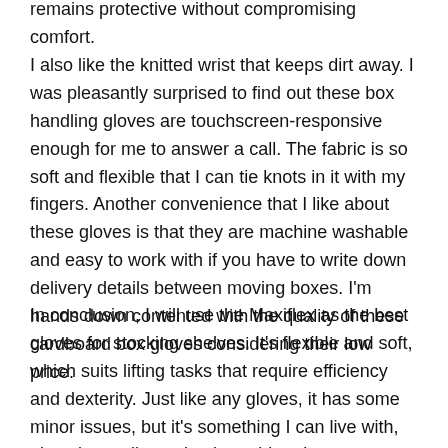remains protective without compromising comfort.
I also like the knitted wrist that keeps dirt away. I was pleasantly surprised to find out these box handling gloves are touchscreen-responsive enough for me to answer a call. The fabric is so soft and flexible that I can tie knots in it with my fingers. Another convenience that I like about these gloves is that they are machine washable and easy to work with if you have to write down delivery details between moving boxes. I'm hands down contented with the quality of these cardboard box gloves considering their low price.
In conclusion, I will use the Maxiflex as the best gloves for stocking shelves. It's flexible and soft, which suits lifting tasks that require efficiency and dexterity. Just like any gloves, it has some minor issues, but it's something I can live with, given its quality and unbeatable grip.